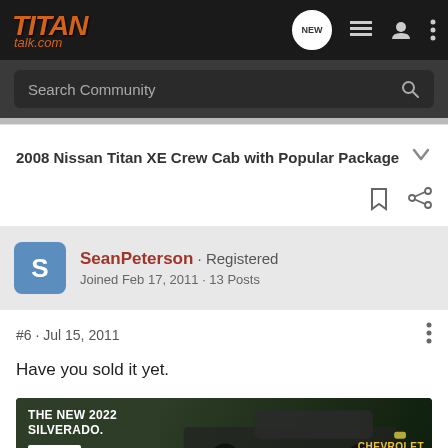[Figure (logo): TITAN talk.com logo in orange italic font on dark background with navigation icons including NEW chat bubble, list icon, user icon, and three-dot menu]
Search Community
2008 Nissan Titan XE Crew Cab with Popular Package
SeanPeterson · Registered
Joined Feb 17, 2011 · 13 Posts
#6 · Jul 15, 2011
Have you sold it yet.
[Figure (photo): Advertisement banner for The New 2022 Silverado by Chevrolet showing a dark truck in a forest setting with an Explore button]